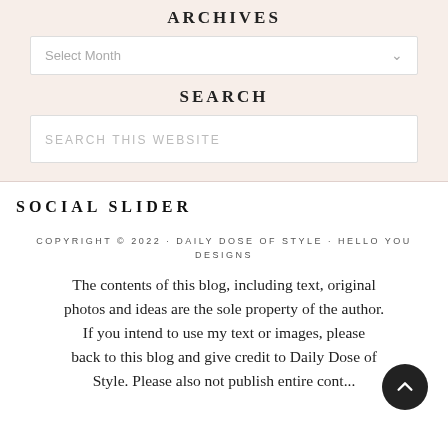ARCHIVES
Select Month
SEARCH
SEARCH THIS WEBSITE
SOCIAL SLIDER
COPYRIGHT © 2022 · DAILY DOSE OF STYLE · HELLO YOU DESIGNS
The contents of this blog, including text, original photos and ideas are the sole property of the author. If you intend to use my text or images, please back to this blog and give credit to Daily Dose of Style. Please also not publish entire content...